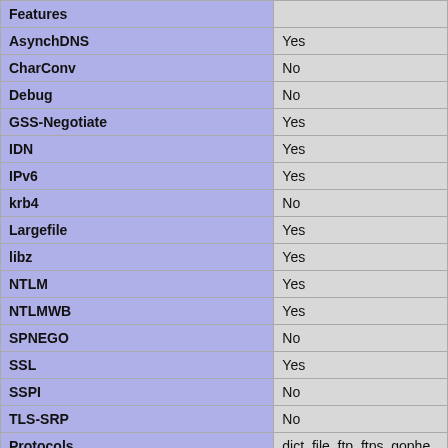| Features |  |
| --- | --- |
| AsynchDNS | Yes |
| CharConv | No |
| Debug | No |
| GSS-Negotiate | Yes |
| IDN | Yes |
| IPv6 | Yes |
| krb4 | No |
| Largefile | Yes |
| libz | Yes |
| NTLM | Yes |
| NTLMWB | Yes |
| SPNEGO | No |
| SSL | Yes |
| SSPI | No |
| TLS-SRP | No |
| Protocols | dict, file, ftp, ftps, gophe… |
| Host | x86_64-redhat-linux-gn… |
| SSL Version | NSS/3.53.1 |
| ZLib Version | 1.2.7 |